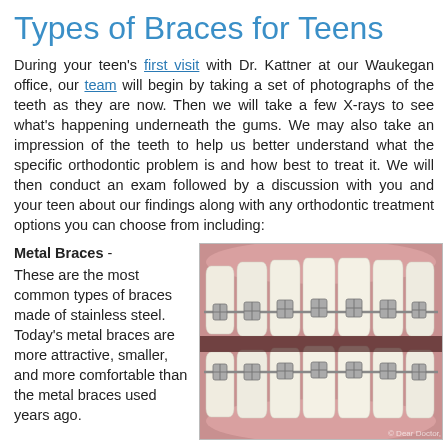Types of Braces for Teens
During your teen's first visit with Dr. Kattner at our Waukegan office, our team will begin by taking a set of photographs of the teeth as they are now. Then we will take a few X-rays to see what's happening underneath the gums. We may also take an impression of the teeth to help us better understand what the specific orthodontic problem is and how best to treat it. We will then conduct an exam followed by a discussion with you and your teen about our findings along with any orthodontic treatment options you can choose from including:
Metal Braces - These are the most common types of braces made of stainless steel. Today's metal braces are more attractive, smaller, and more comfortable than the metal braces used years ago. These braces can even be personalized by choosing different colors for the elastic ties on the brackets, which is an option our
[Figure (photo): Close-up illustration of metal dental braces on teeth, showing brackets and wires on upper and lower teeth, with pink gum tissue visible. Watermark reads '© Dear Doctor, Inc.']